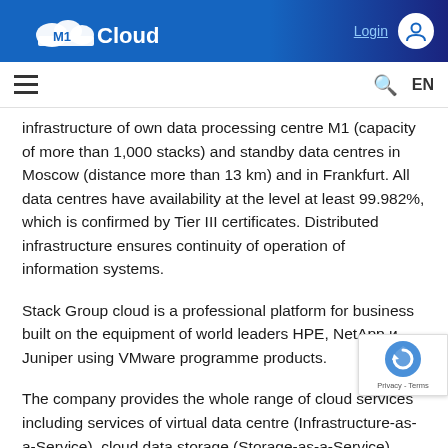M1Cloud — navigation header with logo, Login link, hamburger menu, search icon, EN language toggle
infrastructure of own data processing centre M1 (capacity of more than 1,000 stacks) and standby data centres in Moscow (distance more than 13 km) and in Frankfurt. All data centres have availability at the level at least 99.982%, which is confirmed by Tier III certificates. Distributed infrastructure ensures continuity of operation of information systems.
Stack Group cloud is a professional platform for business built on the equipment of world leaders HPE, NetApp и Juniper using VMware programme products.
The company provides the whole range of cloud services including services of virtual data centre (Infrastructure-as-a-Service), cloud data storage (Storage-as-a-Service), remote desktops with graphics adapters (VDI/VDI GRID), lease of